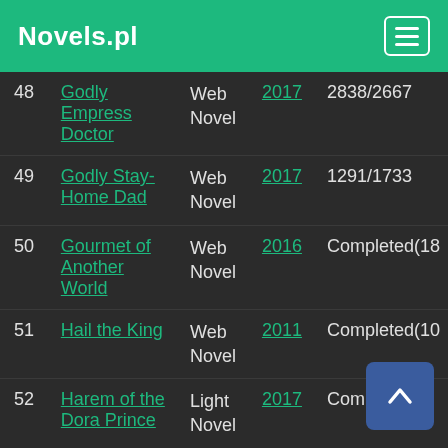Novels.pl
| # | Title | Type | Year | Status |
| --- | --- | --- | --- | --- |
| 48 | Godly Empress Doctor | Web Novel | 2017 | 2838/2667 |
| 49 | Godly Stay-Home Dad | Web Novel | 2017 | 1291/1733 |
| 50 | Gourmet of Another World | Web Novel | 2016 | Completed(18... |
| 51 | Hail the King | Web Novel | 2011 | Completed(10... |
| 52 | Harem of the Dora Prince | Light Novel | 2017 | Completed(2... |
| 53 | Heavenly Jewel Change | Web Novel | 2011 | Completed(90... |
| 54 | Heroes of Marvel | Web Novel | 2017 | 83... |